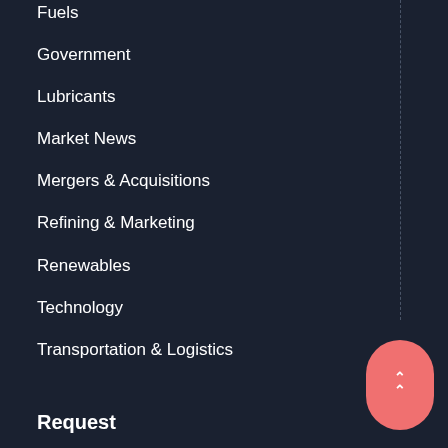Fuels
Government
Lubricants
Market News
Mergers & Acquisitions
Refining & Marketing
Renewables
Technology
Transportation & Logistics
Request
Advertise
Register